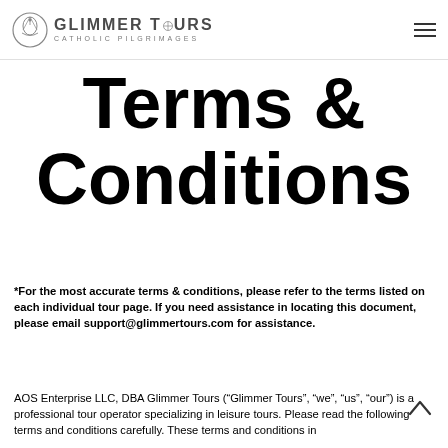GLIMMER TOURS CATHOLIC PILGRIMAGES
Terms & Conditions
*For the most accurate terms & conditions, please refer to the terms listed on each individual tour page. If you need assistance in locating this document, please email support@glimmertours.com for assistance.
AOS Enterprise LLC, DBA Glimmer Tours (“Glimmer Tours”, “we”, “us”, “our”) is a professional tour operator specializing in leisure tours. Please read the following terms and conditions carefully. These terms and conditions in